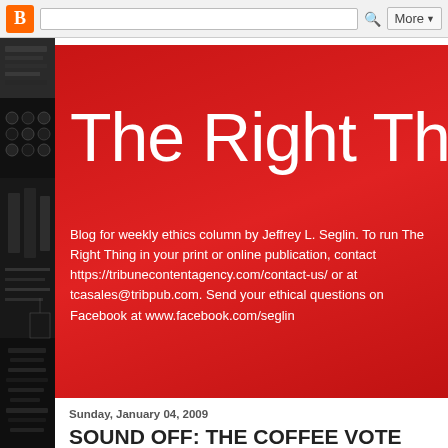Blogger navigation bar with search and More button
[Figure (photo): Left sidebar showing dark photograph of typewriter keys and books]
The Right Thi
Blog for weekly ethics column by Jeffrey L. Seglin. To run The Right Thing in your print or online publication, contact https://tribunecontentagency.com/contact-us/ or at tcasales@tribpub.com. Send your ethical questions on Facebook at www.facebook.com/seglin
Sunday, January 04, 2009
SOUND OFF: THE COFFEE VOTE
On Election Day a national coffee-shop chain in the United Stat anyone who told the clerk that he or she had voted. Would you